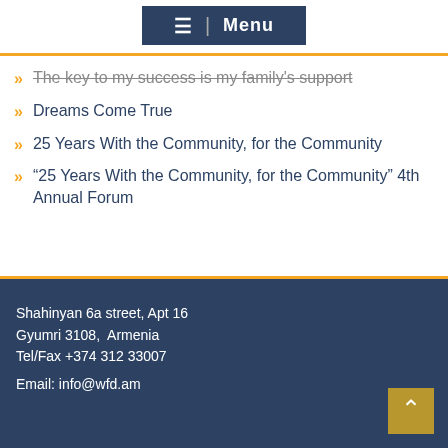≡ | Menu
The key to my success is my family's support
Dreams Come True
25 Years With the Community, for the Community
“25 Years With the Community, for the Community” 4th Annual Forum
Shahinyan 6a street, Apt 16
Gyumri 3108,  Armenia
Tel/Fax +374 312 33007

Email: info@wfd.am